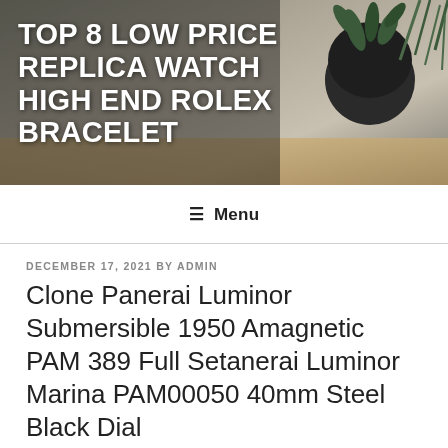[Figure (photo): Header banner photograph showing a blurred indoor scene with dark plant pot and succulent plant on a wooden surface, with dark overlay]
TOP 8 LOW PRICE REPLICA WATCH HIGH END ROLEX BRACELET
≡ Menu
DECEMBER 17, 2021 BY ADMIN
Clone Panerai Luminor Submersible 1950 Amagnetic PAM 389 Full Setanerai Luminor Marina PAM00050 40mm Steel Black Dial Box/Paper/1YrWarranty #275 With 80% Discount